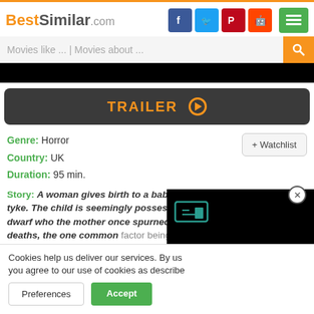BestSimilar.com
Movies like ... | Movies about ...
[Figure (screenshot): Black video thumbnail area]
TRAILER ▶
Genre: Horror
Country: UK
Duration: 95 min.
+ Watchlist
Story: A woman gives birth to a baby, but this is no ordinary little tyke. The child is seemingly possessed by the spirit of a freak dwarf who the mother once spurned. Cue a spate of strange deaths, the one common factor being the presence of a baby in ...
Cookies help us deliver our services. By using our services, you agree to our use of cookies as described in our Cookie Policy.
Preferences  Accept